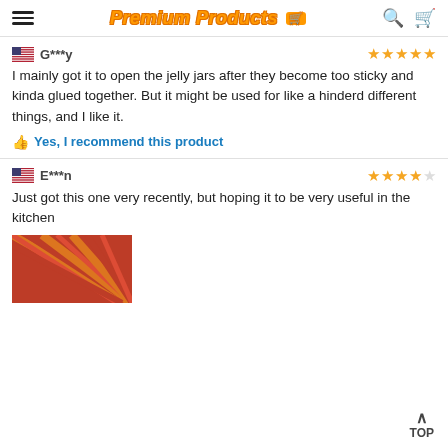Premium Products [logo]
G***y — 5 stars
I mainly got it to open the jelly jars after they become too sticky and kinda glued together. But it might be used for like a hinderd different things, and I like it.
👍 Yes, I recommend this product
E***n — 4 stars
Just got this one very recently, but hoping it to be very useful in the kitchen
[Figure (photo): A product image showing a striped red and orange pattern item]